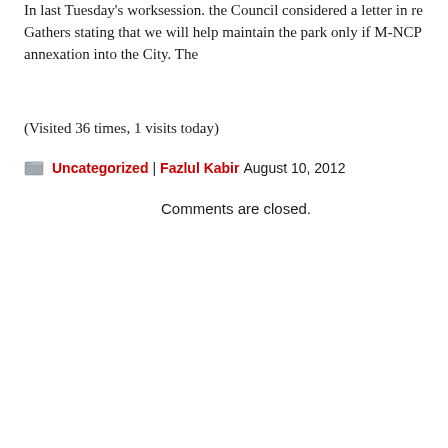In last Tuesday's worksession. the Council considered a letter in re Gathers stating that we will help maintain the park only if M-NCP annexation into the City. The
(Visited 36 times, 1 visits today)
Uncategorized | Fazlul Kabir August 10, 2012
Comments are closed.